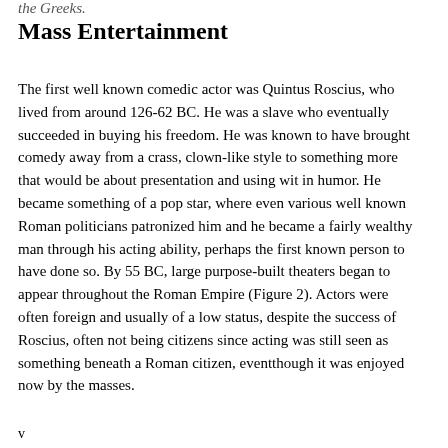the Greeks.
Mass Entertainment
The first well known comedic actor was Quintus Roscius, who lived from around 126-62 BC. He was a slave who eventually succeeded in buying his freedom. He was known to have brought comedy away from a crass, clown-like style to something more that would be about presentation and using wit in humor. He became something of a pop star, where even various well known Roman politicians patronized him and he became a fairly wealthy man through his acting ability, perhaps the first known person to have done so. By 55 BC, large purpose-built theaters began to appear throughout the Roman Empire (Figure 2). Actors were often foreign and usually of a low status, despite the success of Roscius, often not being citizens since acting was still seen as something beneath a Roman citizen, eventthough it was enjoyed now by the masses.
v